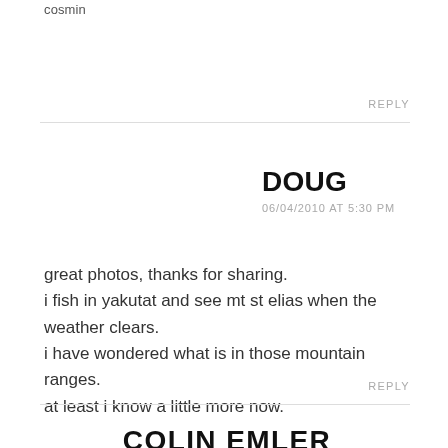cosmin
REPLY
DOUG
06/04/2010 AT 5:30 PM
great photos, thanks for sharing.
i fish in yakutat and see mt st elias when the weather clears.
i have wondered what is in those mountain ranges.
at least i know a little more now.
REPLY
COLIN EMLER